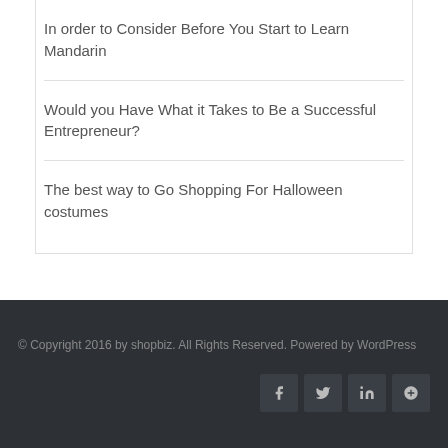In order to Consider Before You Start to Learn Mandarin
Would you Have What it Takes to Be a Successful Entrepreneur?
The best way to Go Shopping For Halloween costumes
© Copyright 2016 by shopbiz. All Rights Reserved. Powered by WordPress